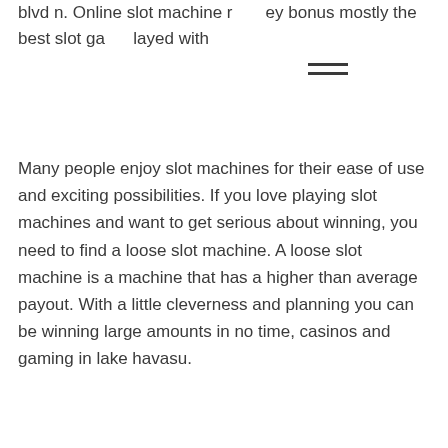blvd n. Online slot machine r   ey bonus mostly the best slot ga   layed with
Many people enjoy slot machines for their ease of use and exciting possibilities. If you love playing slot machines and want to get serious about winning, you need to find a loose slot machine. A loose slot machine is a machine that has a higher than average payout. With a little cleverness and planning you can be winning large amounts in no time, casinos and gaming in lake havasu.
Last week winners:
Roboslots - 268.8 usdt
Weekend In Vegas - 11.6 ltc
Sweet Life 2 - 699.5 bch
Slotomoji - 199.9 eth
Moonshiner's Moolah - 396 usdt
Revolution - 321 eth
Mega Gems - 397.7 eth